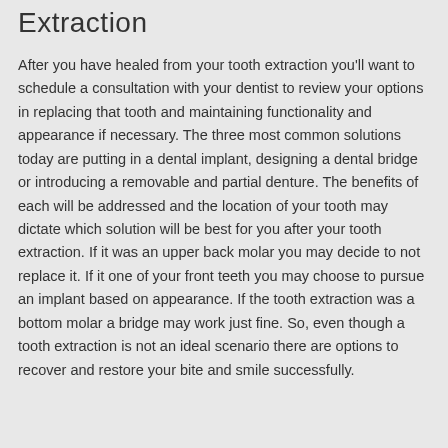Extraction
After you have healed from your tooth extraction you'll want to schedule a consultation with your dentist to review your options in replacing that tooth and maintaining functionality and appearance if necessary. The three most common solutions today are putting in a dental implant, designing a dental bridge or introducing a removable and partial denture. The benefits of each will be addressed and the location of your tooth may dictate which solution will be best for you after your tooth extraction. If it was an upper back molar you may decide to not replace it. If it one of your front teeth you may choose to pursue an implant based on appearance. If the tooth extraction was a bottom molar a bridge may work just fine. So, even though a tooth extraction is not an ideal scenario there are options to recover and restore your bite and smile successfully.